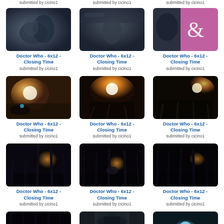submitted by cicino1 submitted by cicino1 submitted by cicino1
[Figure (photo): Dark scene from Doctor Who 6x12 Closing Time - figures embracing]
Doctor Who - 6x12 - Closing Time
submitted by cicino1
[Figure (photo): Dark scene from Doctor Who 6x12 Closing Time - figure in corridor]
Doctor Who - 6x12 - Closing Time
submitted by cicino1
[Figure (photo): Doctor Who 6x12 Closing Time - pink ampersand background]
Doctor Who - 6x12 - Closing Time
submitted by cicino1
[Figure (photo): Bright light flare scene from Doctor Who 6x12 Closing Time]
Doctor Who - 6x12 - Closing Time
submitted by cicino1
[Figure (photo): Bright explosion scene from Doctor Who 6x12 Closing Time]
Doctor Who - 6x12 - Closing Time
submitted by cicino1
[Figure (photo): Dark forest scene with lights from Doctor Who 6x12 Closing Time]
Doctor Who - 6x12 - Closing Time
submitted by cicino1
[Figure (photo): Dark industrial scene from Doctor Who 6x12 Closing Time]
Doctor Who - 6x12 - Closing Time
submitted by cicino1
[Figure (photo): Dark underground scene from Doctor Who 6x12 Closing Time]
Doctor Who - 6x12 - Closing Time
submitted by cicino1
[Figure (photo): Dark scene with orange lights from Doctor Who 6x12 Closing Time]
Doctor Who - 6x12 - Closing Time
submitted by cicino1
[Figure (photo): Dark tentacle/forest scene from Doctor Who 6x12 Closing Time]
[Figure (photo): Archway corridor scene from Doctor Who 6x12 Closing Time]
[Figure (photo): Glowing figure in archway from Doctor Who 6x12 Closing Time]